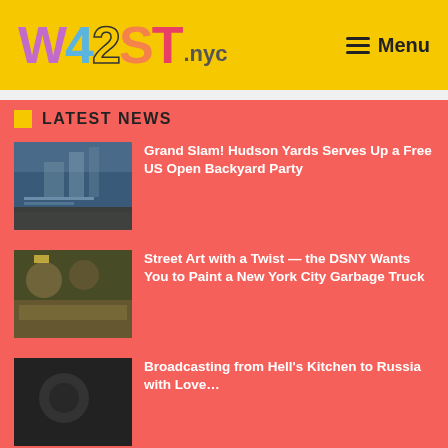W42ST.nyc — Menu
LATEST NEWS
[Figure (photo): Outdoor public area with large screen setup, chairs arranged in rows, urban high-rise building in background at Hudson Yards]
Grand Slam! Hudson Yards Serves Up a Free US Open Backyard Party
[Figure (photo): Two people in military/uniform style clothing standing in front of a New York City garbage truck with 'I Love NY' branding]
Street Art with a Twist — the DSNY Wants You to Paint a New York City Garbage Truck
[Figure (photo): Dark-toned image, partially visible, related to third news article]
Broadcasting from Hell's Kitchen to Russia with Love…